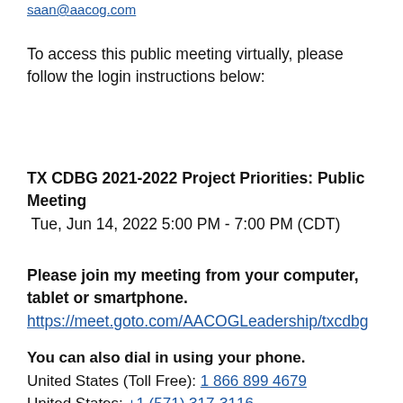saan@aacog.com
To access this public meeting virtually, please follow the login instructions below:
TX CDBG 2021-2022 Project Priorities: Public Meeting
Tue, Jun 14, 2022 5:00 PM - 7:00 PM (CDT)
Please join my meeting from your computer, tablet or smartphone.
https://meet.goto.com/AACOGLeadership/txcdbg
You can also dial in using your phone.
United States (Toll Free): 1 866 899 4679
United States: +1 (571) 317-3116